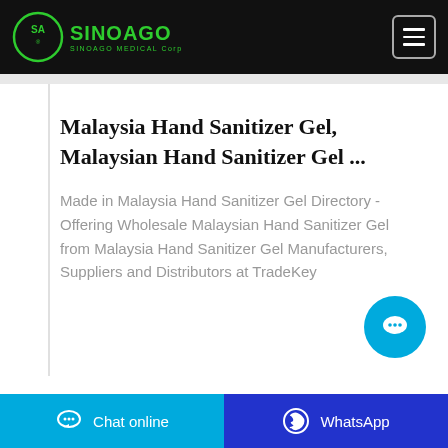SinoAgo MEDICAL Corp
Malaysia Hand Sanitizer Gel, Malaysian Hand Sanitizer Gel ...
Made in Malaysia Hand Sanitizer Gel Directory - Offering Wholesale Malaysian Hand Sanitizer Gel from Malaysia Hand Sanitizer Gel Manufacturers, Suppliers and Distributors at TradeKey
Chat online | WhatsApp